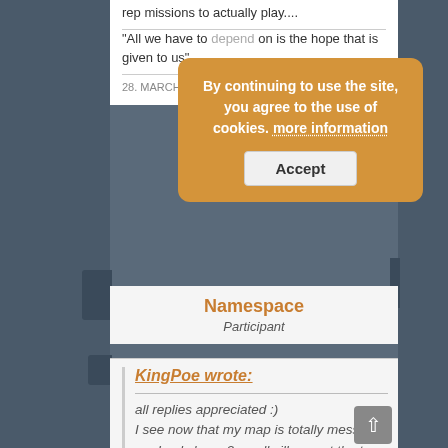rep missions to actually play....
"All we have to depend on is the hope that is given to us"
28. MARCH 2017 AT 7:... #20990
By continuing to use the site, you agree to the use of cookies. more information
Accept
Namespace
Participant
KingPoe wrote:
all replies appreciated :)
I see now that my map is totally messed up, I only have 2 small villages at the top, then two at the bottom -which is like 3-4 days travel away from eachother. None of the other places will even give out